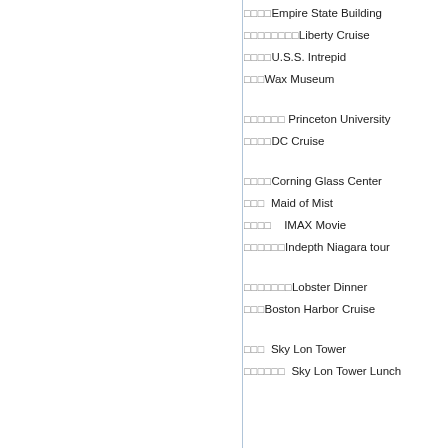□□□□Empire State Building
□□□□□□□□Liberty Cruise
□□□□U.S.S. Intrepid
□□□Wax Museum
□□□□□□ Princeton University
□□□□DC Cruise
□□□□Corning Glass Center
□□□  Maid of Mist
□□□□   IMAX Movie
□□□□□□Indepth Niagara tour
□□□□□□□Lobster Dinner
□□□Boston Harbor Cruise
□□□  Sky Lon Tower
□□□□□□  Sky Lon Tower Lunch